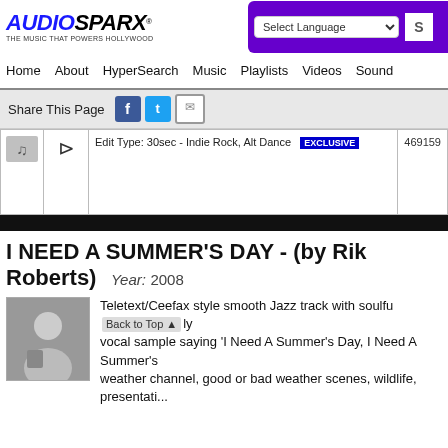AUDIOSPARX - THE MUSIC THAT POWERS HOLLYWOOD
Select Language | Search
Home | About | HyperSearch | Music | Playlists | Videos | Sound
Share This Page
Edit Type: 30sec - Indie Rock, Alt Dance  EXCLUSIVE  469159
I NEED A SUMMER'S DAY - (by Rik Roberts)  Year: 2008
Teletext/Ceefax style smooth Jazz track with soulful vocal sample saying 'I Need A Summer's Day, I Need A Summer's weather channel, good or bad weather scenes, wildlife, presentatio...